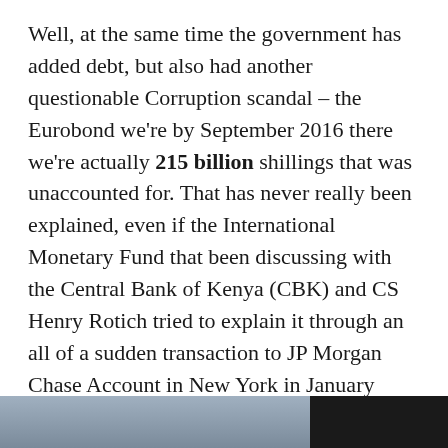Well, at the same time the government has added debt, but also had another questionable Corruption scandal – the Eurobond we're by September 2016 there we're actually 215 billion shillings that was unaccounted for. That has never really been explained, even if the International Monetary Fund that been discussing with the Central Bank of Kenya (CBK) and CS Henry Rotich tried to explain it through an all of a sudden transaction to JP Morgan Chase Account in New York in January 2016, that 2 years after the release of the questionable transactions and sale of the Eurobonds.
[Figure (photo): Partial photograph strip at bottom of page showing people, partially visible]